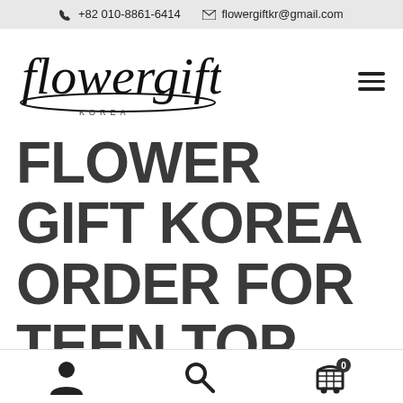+82 010-8861-6414  flowergiftkr@gmail.com
[Figure (logo): Flowergift Korea handwritten script logo with 'KOREA' text below]
FLOWER GIFT KOREA ORDER FOR TEEN TOP KPOP GROUP – CHANGIO'S
User icon, Search icon, Cart icon with 0